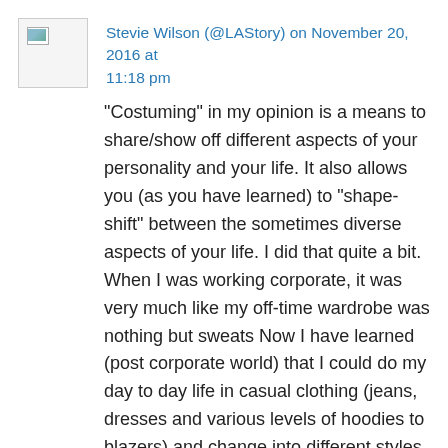Stevie Wilson (@LAStory) on November 20, 2016 at 11:18 pm
“Costuming” in my opinion is a means to share/show off different aspects of your personality and your life. It also allows you (as you have learned) to “shape-shift” between the sometimes diverse aspects of your life. I did that quite a bit. When I was working corporate, it was very much like my off-time wardrobe was nothing but sweats Now I have learned (post corporate world) that I could do my day to day life in casual clothing (jeans, dresses and various levels of hoodies to blazers) and change into different styles depending on events and time of day. It’s a bit schizophrenic but I like it. It allows for lots of options, clothing. While I don’t always mix ...